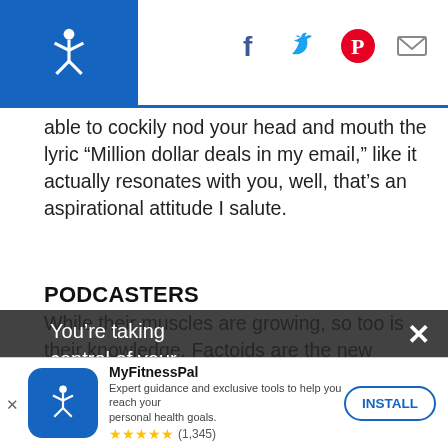MyFitnessPal header with logo and social icons (Facebook, Twitter, Pinterest, Email)
able to cockily nod your head and mouth the lyric “Million dollar deals in my email,” like it actually resonates with you, well, that’s an aspirational attitude I salute.
PODCASTERS
While their muscles are growing, so too is their knowledge. Factoids are the new steroids. Listening to a podcast while working out is an effective way to flex your brawn and your brain. Meathead? More like wow-that-new-fact-I-just-learned-is-pretty-neat-control of your
You’re taking
control of your
[Figure (screenshot): MyFitnessPal app install banner at bottom with icon, app name, description, star rating (1,345 reviews), and INSTALL button]